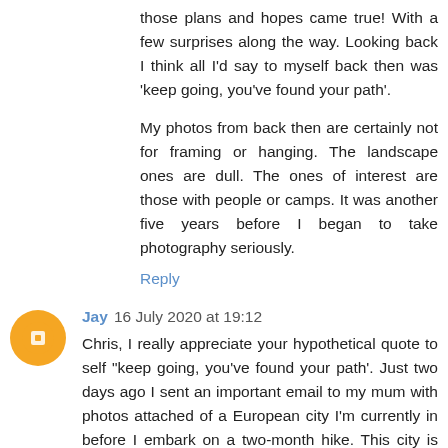those plans and hopes came true! With a few surprises along the way. Looking back I think all I'd say to myself back then was 'keep going, you've found your path'.
My photos from back then are certainly not for framing or hanging. The landscape ones are dull. The ones of interest are those with people or camps. It was another five years before I began to take photography seriously.
Reply
Jay 16 July 2020 at 19:12
Chris, I really appreciate your hypothetical quote to self "keep going, you've found your path'. Just two days ago I sent an important email to my mum with photos attached of a European city I'm currently in before I embark on a two-month hike. This city is important to mum as she had a lovely holiday here with a childhood friend. Mum emailed the photos to her friend, but was concerned she hadn't had a reply, as they'd spoken only a few days before agbout returning to this beautiful city. Mum got an email from her friend's daughter saying that sadly, her mother had died...